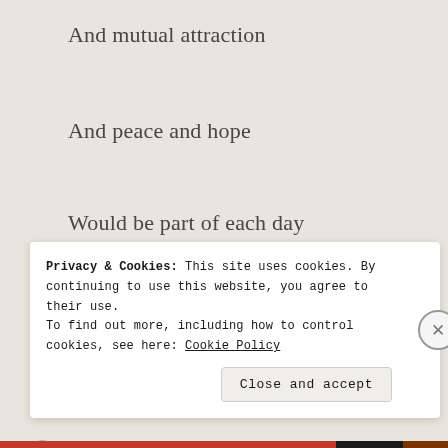And mutual attraction
And peace and hope
Would be part of each day
For now she was happy
She was well on her way
Iaigha66 / June 20, 2017 / Daily Prompts, Poems /
Privacy & Cookies: This site uses cookies. By continuing to use this website, you agree to their use.
To find out more, including how to control cookies, see here: Cookie Policy
Close and accept